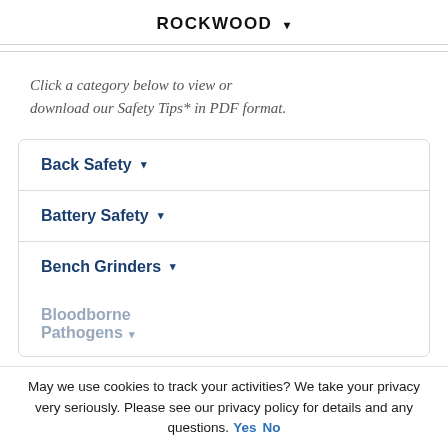ROCKWOOD ▾
Click a category below to view or download our Safety Tips* in PDF format.
Back Safety ▾
Battery Safety ▾
Bench Grinders ▾
Bloodborne Pathogens ▾
May we use cookies to track your activities? We take your privacy very seriously. Please see our privacy policy for details and any questions. Yes No